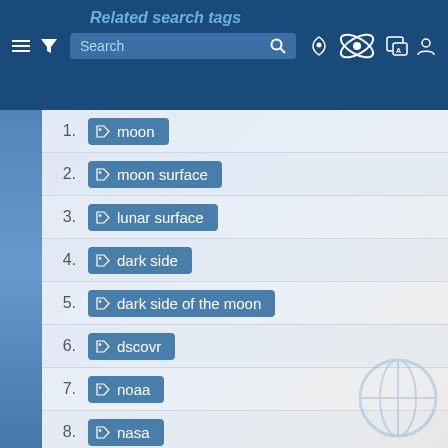[Figure (screenshot): Web application screenshot showing a 'Related search tags' panel with a dark blue navigation bar containing a hamburger menu, filter icon, search box, pin icon, space logo, language icon, and user icon. Below is a list of 8 numbered search tags: moon, moon surface, lunar surface, dark side, dark side of the moon, dscovr, noaa, nasa. Each tag is displayed as a teal/blue badge with a tag icon.]
Related search tags
1. moon
2. moon surface
3. lunar surface
4. dark side
5. dark side of the moon
6. dscovr
7. noaa
8. nasa